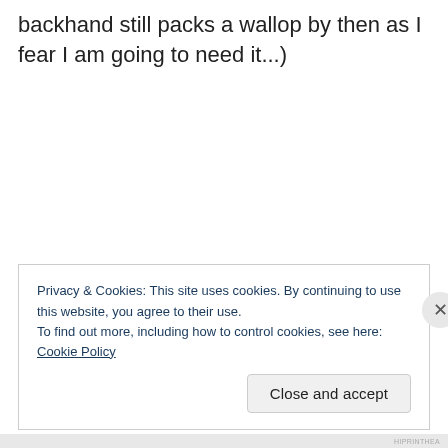backhand still packs a wallop by then as I fear I am going to need it...)
Privacy & Cookies: This site uses cookies. By continuing to use this website, you agree to their use. To find out more, including how to control cookies, see here: Cookie Policy
Close and accept